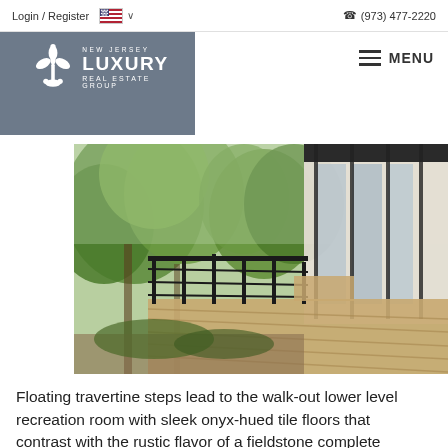Login / Register  🇺🇸 ∨   ☎ (973) 477-2220
[Figure (logo): New Jersey Luxury Real Estate Group logo — fleur-de-lis icon on grey background with text NEW JERSEY LUXURY REAL ESTATE GROUP]
MENU
[Figure (photo): Exterior photo of a modern house deck/walkway with dark metal railings, wood-plank flooring, floor-to-ceiling glass windows, surrounded by lush green trees]
Floating travertine steps lead to the walk-out lower level recreation room with sleek onyx-hued tile floors that contrast with the rustic flavor of a fieldstone complete with built-ins and access to a lower covered